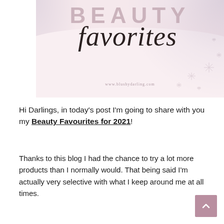[Figure (illustration): Beauty blog header banner with 'BEAUTY' in large grey serif letters and 'favorites' in cursive script, pink/blush background with glitter/snowflake decorations and watermark www.blushydarling.com]
Hi Darlings, in today's post I'm going to share with you my Beauty Favourites for 2021!
Thanks to this blog I had the chance to try a lot more products than I normally would. That being said I'm actually very selective with what I keep around me at all times.